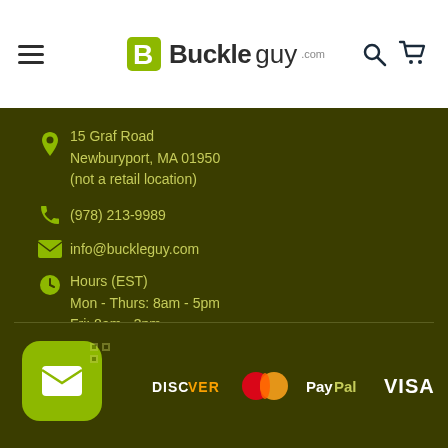Buckleguy.com
15 Graf Road
Newburyport, MA 01950
(not a retail location)
(978) 213-9989
info@buckleguy.com
Hours (EST)
Mon - Thurs: 8am - 5pm
Fri: 8am - 3pm
[Figure (logo): Payment method logos: Discover, Mastercard, PayPal, Visa on dark olive background. Email FAB button on left.]